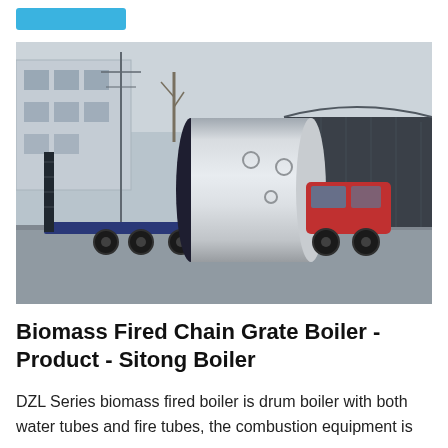[Figure (photo): A large cylindrical horizontal boiler (DZL series biomass fired boiler) being transported on a heavy-duty flatbed truck in an industrial yard. The boiler is silver/white with a dark end cap. Background shows industrial buildings and a dark canopy structure on the right.]
Biomass Fired Chain Grate Boiler - Product - Sitong Boiler
DZL Series biomass fired boiler is drum boiler with both water tubes and fire tubes, the combustion equipment is